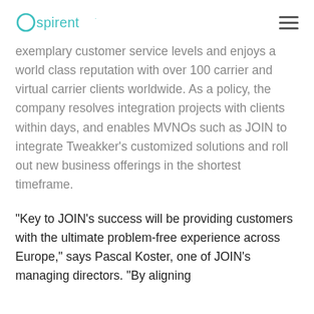Ospirent [logo] [hamburger menu]
exemplary customer service levels and enjoys a world class reputation with over 100 carrier and virtual carrier clients worldwide. As a policy, the company resolves integration projects with clients within days, and enables MVNOs such as JOIN to integrate Tweakker’s customized solutions and roll out new business offerings in the shortest timeframe.
“Key to JOIN’s success will be providing customers with the ultimate problem-free experience across Europe,” says Pascal Koster, one of JOIN’s managing directors. “By aligning